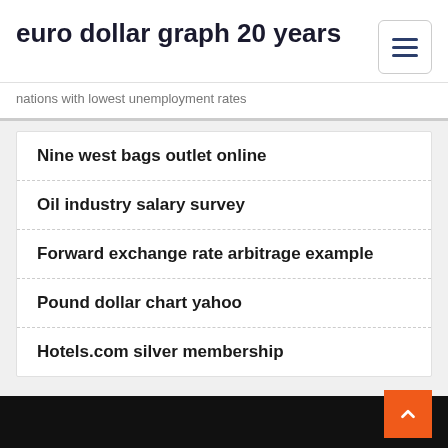euro dollar graph 20 years
nations with lowest unemployment rates
Nine west bags outlet online
Oil industry salary survey
Forward exchange rate arbitrage example
Pound dollar chart yahoo
Hotels.com silver membership